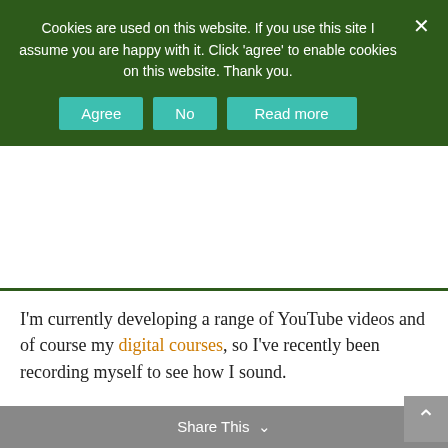Cookies are used on this website. If you use this site I assume you are happy with it. Click 'agree' to enable cookies on this website. Thank you.
Agree | No | Read more
I'm currently developing a range of YouTube videos and of course my digital courses, so I've recently been recording myself to see how I sound.
Anyone who has listened to their own voice recordings knows how painful that can be!
As I was recording directly into my MacAir, I was rather disappointed with the quality of sound. So I did a little research and decided that I needed to accompany my MacBook Air with a USB microphone.
Share This ∨